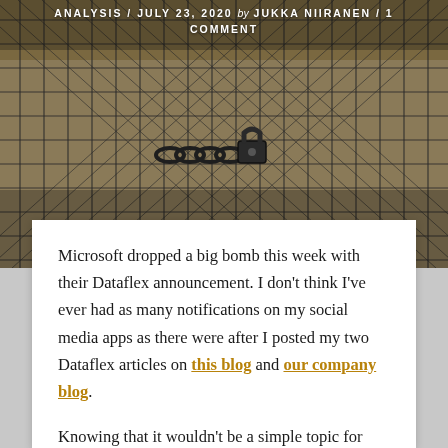[Figure (photo): Chain-link fence with lock, dark metallic tones, olive/tan background — blog post header image]
ANALYSIS / JULY 23, 2020 by JUKKA NIIRANEN / 1 COMMENT
Microsoft dropped a big bomb this week with their Dataflex announcement. I don't think I've ever had as many notifications on my social media apps as there were after I posted my two Dataflex articles on this blog and our company blog.
Knowing that it wouldn't be a simple topic for outsiders to grasp, with the many different dimensions that Microsoft's various product teams would use in their own messaging, I wanted to make sure there was at least one article out